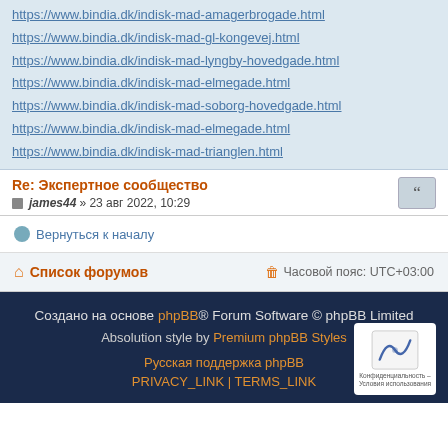https://www.bindia.dk/indisk-mad-amagerbrogade.html
https://www.bindia.dk/indisk-mad-gl-kongevej.html
https://www.bindia.dk/indisk-mad-lyngby-hovedgade.html
https://www.bindia.dk/indisk-mad-elmegade.html
https://www.bindia.dk/indisk-mad-soborg-hovedgade.html
https://www.bindia.dk/indisk-mad-elmegade.html
https://www.bindia.dk/indisk-mad-trianglen.html
Re: Экспертное сообщество
james44 » 23 авг 2022, 10:29
Вернуться к началу
Список форумов
Часовой пояс: UTC+03:00
Создано на основе phpBB® Forum Software © phpBB Limited
Absolution style by Premium phpBB Styles
Русская поддержка phpBB
PRIVACY_LINK | TERMS_LINK